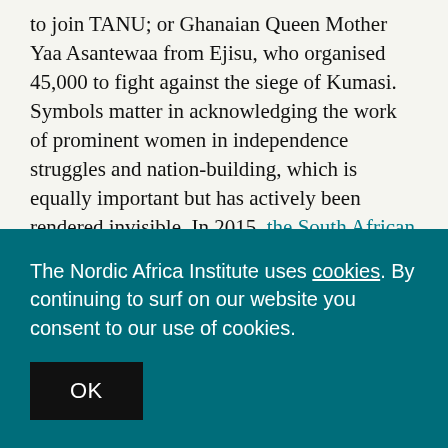to join TANU; or Ghanaian Queen Mother Yaa Asantewaa from Ejisu, who organised 45,000 to fight against the siege of Kumasi. Symbols matter in acknowledging the work of prominent women in independence struggles and nation-building, which is equally important but has actively been rendered invisible. In 2015, the South African #RhodesMustFall movement also highlighted the role of symbols in the rewriting of African history.
The Nordic Africa Institute uses cookies. By continuing to surf on our website you consent to our use of cookies.